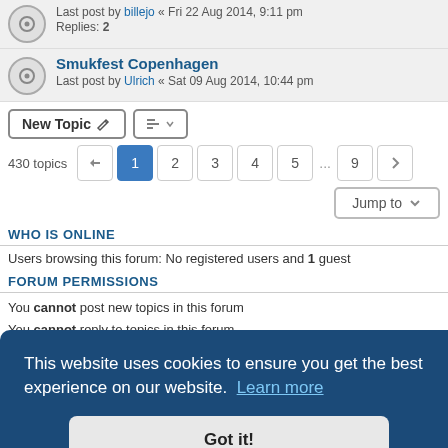Last post by billejo « Fri 22 Aug 2014, 9:11 pm
Replies: 2
Smukfest Copenhagen
Last post by Ulrich « Sat 09 Aug 2014, 10:44 pm
New Topic  [sort button]
430 topics  1 2 3 4 5 ... 9 >
Jump to
WHO IS ONLINE
Users browsing this forum: No registered users and 1 guest
FORUM PERMISSIONS
You cannot post new topics in this forum
You cannot reply to topics in this forum
This website uses cookies to ensure you get the best experience on our website. Learn more
Got it!
UTC+01:00